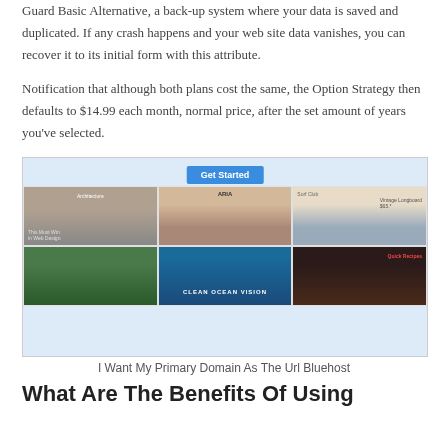Guard Basic Alternative, a back-up system where your data is saved and duplicated. If any crash happens and your web site data vanishes, you can recover it to its initial form with this attribute.
Notification that although both plans cost the same, the Option Strategy then defaults to $14.99 each month, normal price, after the set amount of years you've selected.
[Figure (screenshot): Website template gallery showing 6 template thumbnails in a 3x2 grid with a blue 'Get Started' button at the top center, on a light blue background]
I Want My Primary Domain As The Url Bluehost
What Are The Benefits Of Using